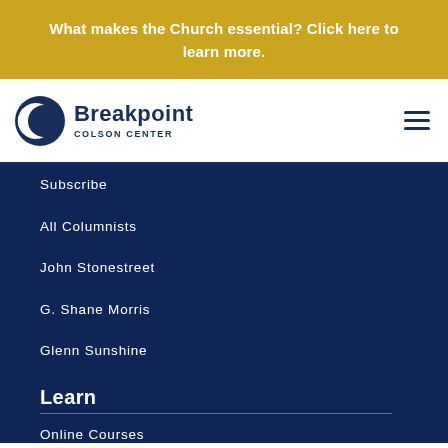What makes the Church essential? Click here to learn more.
[Figure (logo): Breakpoint Colson Center logo with circular icon and text]
Subscribe
All Columnists
John Stonestreet
G. Shane Morris
Glenn Sunshine
Learn
Online Courses